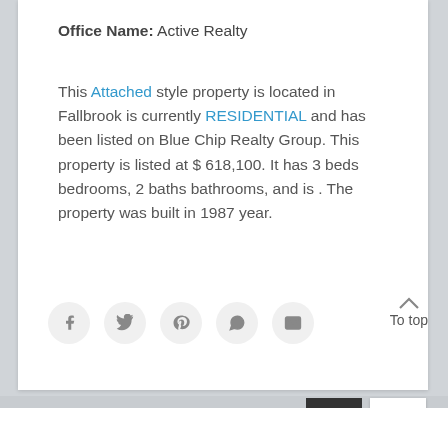Office Name: Active Realty
This Attached style property is located in Fallbrook is currently RESIDENTIAL and has been listed on Blue Chip Realty Group. This property is listed at $ 618,100. It has 3 beds bedrooms, 2 baths bathrooms, and is . The property was built in 1987 year.
[Figure (other): Social sharing icons: Facebook, Twitter, Pinterest, WhatsApp, Email, and a To top button with upward chevron]